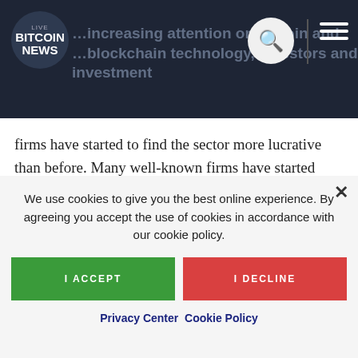LIVE BITCOIN NEWS
firms have started to find the sector more lucrative than before. Many well-known firms have started pitching in their...
GAUTHAM · APRIL 28, 2016 · 8:00 PM
We use cookies to give you the best online experience. By agreeing you accept the use of cookies in accordance with our cookie policy.
I ACCEPT
I DECLINE
Privacy Center  Cookie Policy